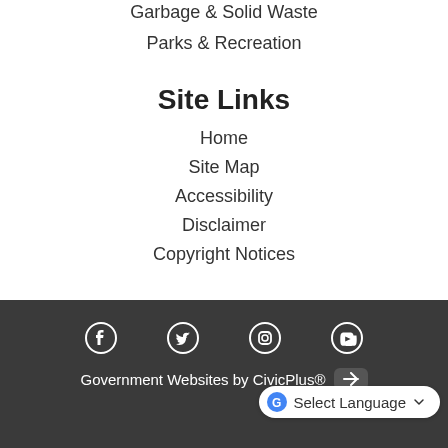Garbage & Solid Waste
Parks & Recreation
Site Links
Home
Site Map
Accessibility
Disclaimer
Copyright Notices
Government Websites by CivicPlus®   Select Language